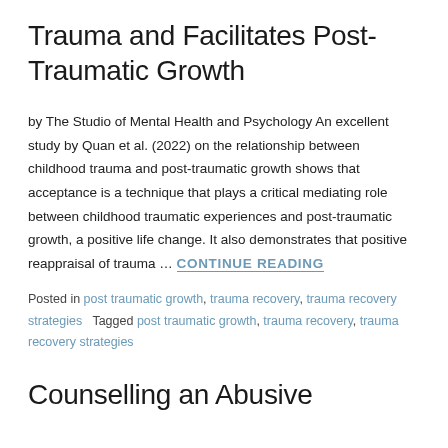Trauma and Facilitates Post-Traumatic Growth
by The Studio of Mental Health and Psychology An excellent study by Quan et al. (2022) on the relationship between childhood trauma and post-traumatic growth shows that acceptance is a technique that plays a critical mediating role between childhood traumatic experiences and post-traumatic growth, a positive life change. It also demonstrates that positive reappraisal of trauma … CONTINUE READING
Posted in post traumatic growth, trauma recovery, trauma recovery strategies   Tagged post traumatic growth, trauma recovery, trauma recovery strategies
Counselling an Abusive